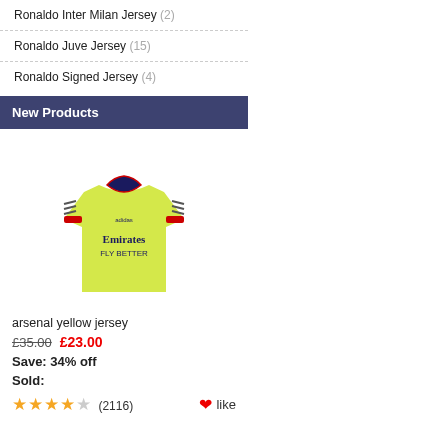Ronaldo Inter Milan Jersey (2)
Ronaldo Juve Jersey (15)
Ronaldo Signed Jersey (4)
New Products
[Figure (photo): Arsenal yellow jersey with Emirates Fly Better sponsor and navy/red trim, adidas branding]
arsenal yellow jersey
£35.00  £23.00
Save: 34% off
Sold:
★★★★☆ (2116)  ❤like
[Figure (photo): Yellow Arsenal jersey with blue collar and Nike/Arsenal branding]